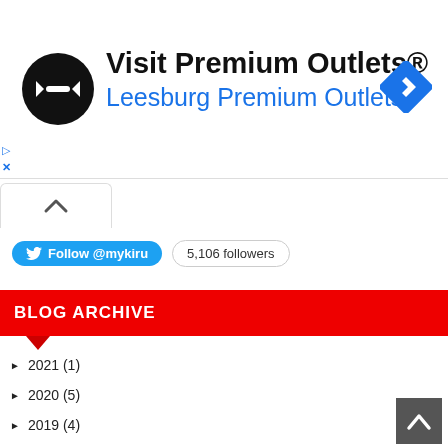[Figure (advertisement): Premium Outlets advertisement banner with circular logo, heading 'Visit Premium Outlets®', subheading 'Leesburg Premium Outlets', and a map navigation diamond icon on the right.]
Follow @mykiru   5,106 followers
BLOG ARCHIVE
► 2021 (1)
► 2020 (5)
► 2019 (4)
► 2018 (35)
► 2017 (225)
► 2016 (241)
► 2015 (494)
► 2014 (447)
► 2013 (501)
▼ 2012 (633)